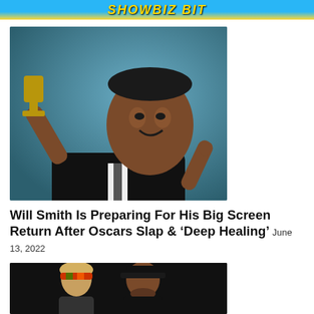SHOWBIZ BIT
[Figure (photo): Man in black suit holding an award trophy, smiling and pointing at himself, photographed against a blue-gray background.]
Will Smith Is Preparing For His Big Screen Return After Oscars Slap & ‘Deep Healing’ June 13, 2022
[Figure (photo): A blonde woman with a colorful headband next to a man wearing a black baseball cap, photographed in a dark setting.]